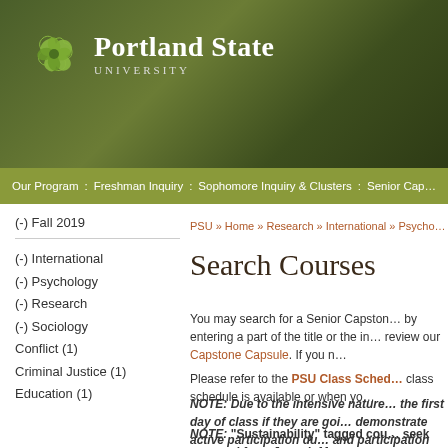[Figure (logo): Portland State University logo with green clover icon and white text]
Our Program : Freshman Inquiry : Sophomore Inquiry & Clusters : Senior Cap…
PSU » Home » Research » International » Psycho…
Search Courses
(-) Fall 2019
(-) International
(-) Psychology
(-) Research
(-) Sociology
Conflict (1)
Criminal Justice (1)
Education (1)
You may search for a Senior Capstone by entering a part of the title or the ins… review our Capstone Capsule. If you n…
Please refer to the PSU Class Sched… class schedule is available or when yo…
NOTE:  Due to the intensive nature… the first day of class if they are goi… demonstrate active participation du… and participation into the final grac…
NOTE:  "Sustainability" tagged cou… seek approval from Joseph Maser,…